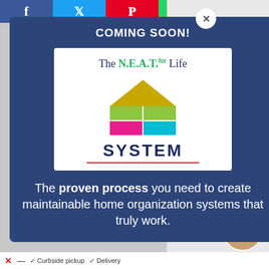[Figure (screenshot): Screenshot of a webpage with a modal popup. Background shows social share bar with Facebook, Twitter, Pinterest, WhatsApp icons. A dark navy blue modal overlay shows 'COMING SOON!' heading, a logo for 'The N.E.A.T. for Life SYSTEM' with a house icon, and a tagline. Right side shows partial webpage content including a heart button, share button, '91.8K', 'WHAT'S NEXT' section with '5 Stunning Bridal Show...' text, and a person's photo.]
COMING SOON!
[Figure (logo): The N.E.A.T. for Life SYSTEM logo — house icon with yellow roof, pink bottom-left square, teal bottom-right square, lime green top-right square on white background, with SYSTEM in dark navy bold text below]
The proven process you need to create maintainable home organization systems that truly work.